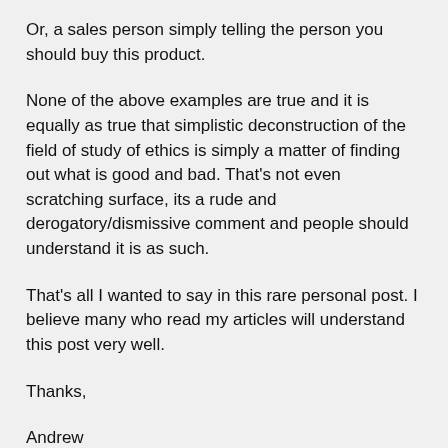Or, a sales person simply telling the person you should buy this product.
None of the above examples are true and it is equally as true that simplistic deconstruction of the field of study of ethics is simply a matter of finding out what is good and bad. That's not even scratching surface, its a rude and derogatory/dismissive comment and people should understand it is as such.
That's all I wanted to say in this rare personal post. I believe many who read my articles will understand this post very well.
Thanks,
Andrew